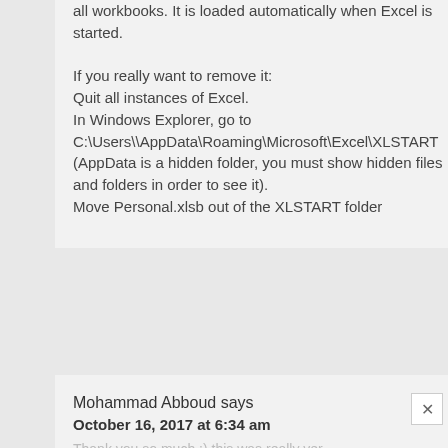all workbooks. It is loaded automatically when Excel is started.

If you really want to remove it:
Quit all instances of Excel.
In Windows Explorer, go to C:\Users\\AppData\Roaming\Microsoft\Excel\XLSTART (AppData is a hidden folder, you must show hidden files and folders in order to see it).
Move Personal.xlsb out of the XLSTART folder
Mohammad Abboud says
October 16, 2017 at 6:34 am
Thank you so much :) this was really ver...